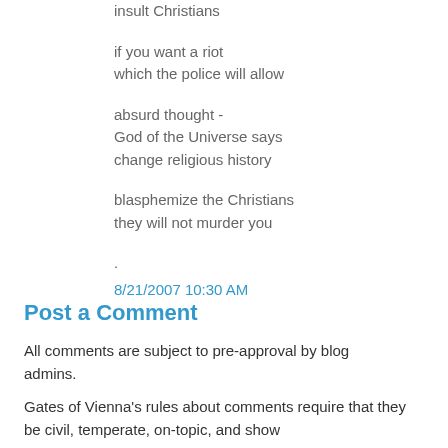insult Christians
if you want a riot
which the police will allow
absurd thought -
God of the Universe says
change religious history
blasphemize the Christians
they will not murder you
.
8/21/2007 10:30 AM
Post a Comment
All comments are subject to pre-approval by blog admins.
Gates of Vienna's rules about comments require that they be civil, temperate, on-topic, and show